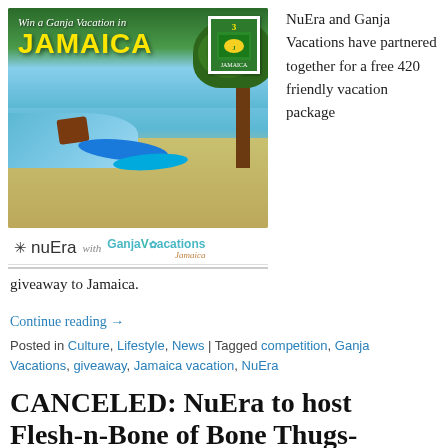[Figure (photo): Advertisement image for 'Win a Ganja Vacation in JAMAICA' featuring a beach scene with blue kayaks, lounge chairs, trees, turquoise water, a Jamaica postage stamp, nuEra logo, and GanjaVacations Jamaica logo]
NuEra and Ganja Vacations have partnered together for a free 420 friendly vacation package giveaway to Jamaica.
Continue reading →
Posted in Culture, Lifestyle, News | Tagged competition, Ganja Vacations, giveaway, Jamaica vacation, NuEra
CANCELED: NuEra to host Flesh-n-Bone of Bone Thugs-